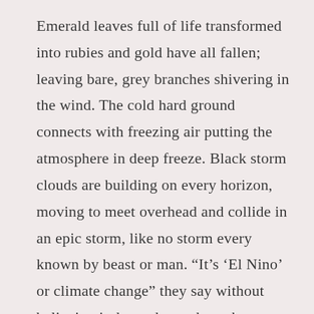Emerald leaves full of life transformed into rubies and gold have all fallen; leaving bare, grey branches shivering in the wind. The cold hard ground connects with freezing air putting the atmosphere in deep freeze. Black storm clouds are building on every horizon, moving to meet overhead and collide in an epic storm, like no storm every known by beast or man. “It’s ‘El Nino’ or climate change” they say without believing it down deep where the frightening truth lies not long to be denied. There are those other voices warning that this is God’s wrath, true voices mixed with the false, on a